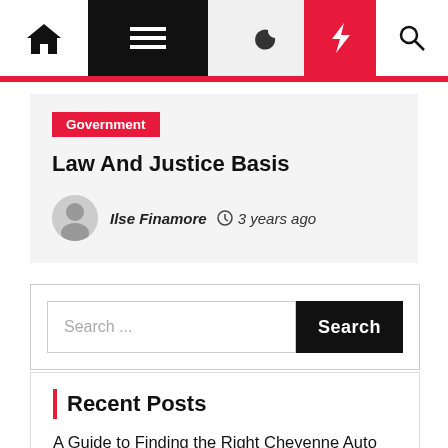Navigation bar with home, menu, moon, bolt, search icons
Government
Law And Justice Basis
Ilse Finamore  3 years ago
Search ...
Recent Posts
A Guide to Finding the Right Cheyenne Auto Accident Lawyer